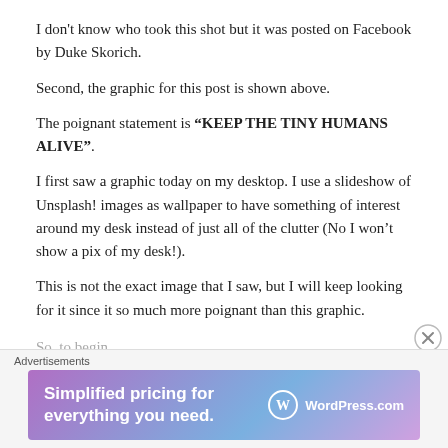I don't know who took this shot but it was posted on Facebook by Duke Skorich.
Second, the graphic for this post is shown above.
The poignant statement is “KEEP THE TINY HUMANS ALIVE”.
I first saw a graphic today on my desktop. I use a slideshow of Unsplash! images as wallpaper to have something of interest around my desk instead of just all of the clutter (No I won’t show a pix of my desk!).
This is not the exact image that I saw, but I will keep looking for it since it so much more poignant than this graphic.
So, to begin…
Advertisements
[Figure (screenshot): WordPress.com advertisement banner: 'Simplified pricing for everything you need.' with WordPress.com logo]